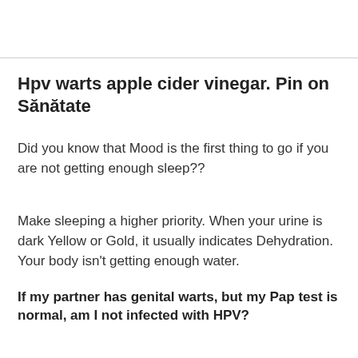Hpv warts apple cider vinegar. Pin on Sănătate
Did you know that Mood is the first thing to go if you are not getting enough sleep??
Make sleeping a higher priority. When your urine is dark Yellow or Gold, it usually indicates Dehydration. Your body isn't getting enough water.
If my partner has genital warts, but my Pap test is normal, am I not infected with HPV?